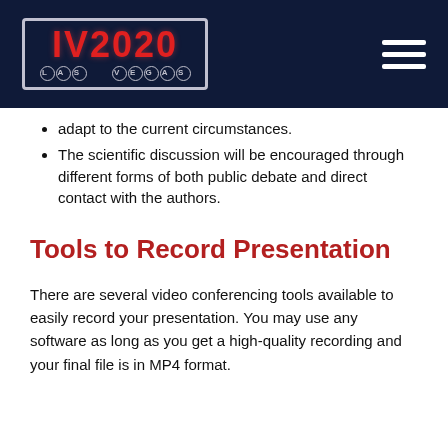IV2020 LAS VEGAS
adapt to the current circumstances.
The scientific discussion will be encouraged through different forms of both public debate and direct contact with the authors.
Tools to Record Presentation
There are several video conferencing tools available to easily record your presentation. You may use any software as long as you get a high-quality recording and your final file is in MP4 format.